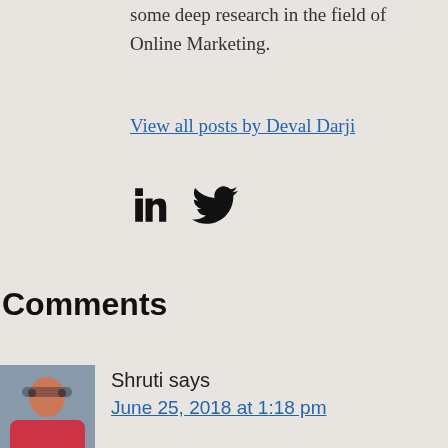some deep research in the field of Online Marketing.
View all posts by Deval Darji
[Figure (other): LinkedIn and Twitter social media icons]
Comments
[Figure (photo): Avatar photo of commenter Shruti]
Shruti says
June 25, 2018 at 1:18 pm